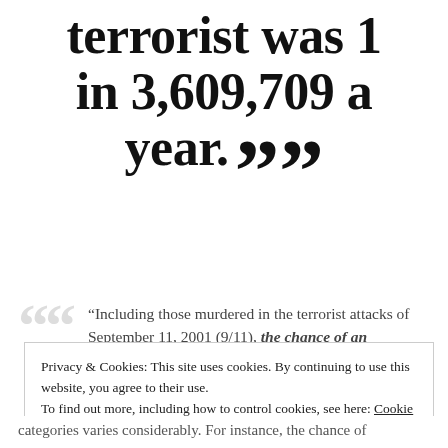terrorist was 1 in 3,609,709 a year. ””
“Including those murdered in the terrorist attacks of September 11, 2001 (9/11), the chance of an American
Privacy & Cookies: This site uses cookies. By continuing to use this website, you agree to their use. To find out more, including how to control cookies, see here: Cookie Policy
Close and accept
categories varies considerably. For instance, the chance of